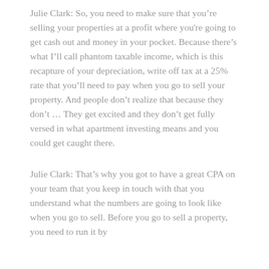Julie Clark: So, you need to make sure that you're selling your properties at a profit where you're going to get cash out and money in your pocket. Because there's what I'll call phantom taxable income, which is this recapture of your depreciation, write off tax at a 25% rate that you'll need to pay when you go to sell your property. And people don't realize that because they don't ... They get excited and they don't get fully versed in what apartment investing means and you could get caught there.
Julie Clark: That's why you got to have a great CPA on your team that you keep in touch with that you understand what the numbers are going to look like when you go to sell. Before you go to sell a property, you need to run it by